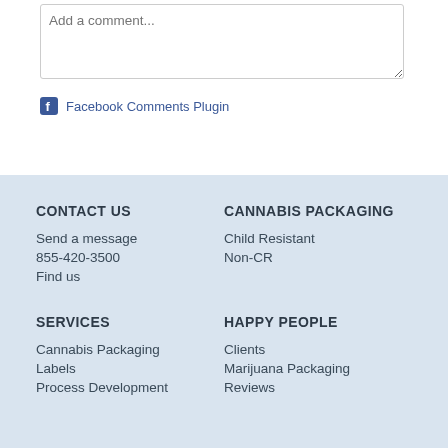Add a comment...
Facebook Comments Plugin
CONTACT US
Send a message
855-420-3500
Find us
CANNABIS PACKAGING
Child Resistant
Non-CR
SERVICES
Cannabis Packaging
Labels
Process Development
HAPPY PEOPLE
Clients
Marijuana Packaging
Reviews